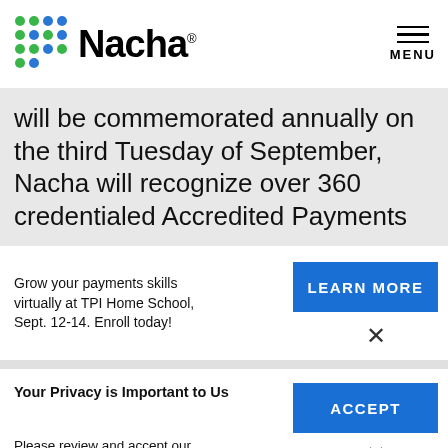Nacha
will be commemorated annually on the third Tuesday of September, Nacha will recognize over 360 credentialed Accredited Payments
Grow your payments skills virtually at TPI Home School, Sept. 12-14. Enroll today!
LEARN MORE
Your Privacy is Important to Us
Please review and accept our privacy policy regarding use of cookies and related technologies.
ACCEPT